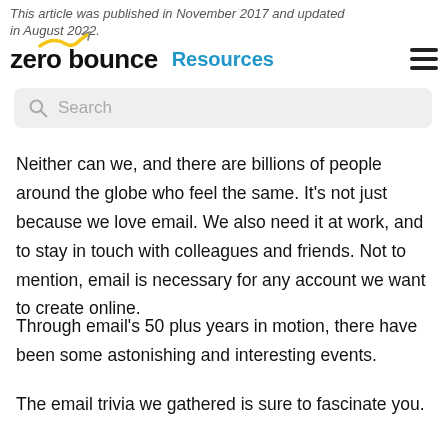This article was published in November 2017 and updated in August 2022.
zero bounce  Resources
Search
Neither can we, and there are billions of people around the globe who feel the same. It's not just because we love email. We also need it at work, and to stay in touch with colleagues and friends. Not to mention, email is necessary for any account we want to create online.
Through email's 50 plus years in motion, there have been some astonishing and interesting events.
The email trivia we gathered is sure to fascinate you.